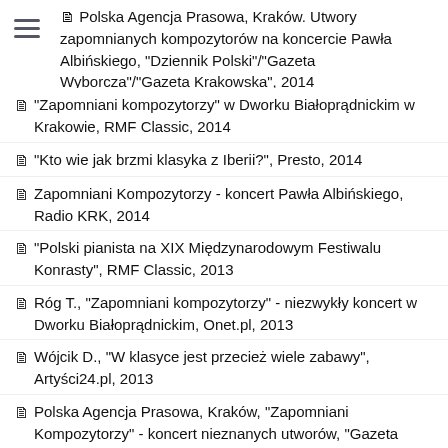Polska Agencja Prasowa, Kraków. Utwory zapomnianych kompozytorów na koncercie Pawła Albińskiego, "Dziennik Polski"/"Gazeta Wyborcza"/"Gazeta Krakowska", 2014
"Zapomniani kompozytorzy" w Dworku Białoprądnickim w Krakowie, RMF Classic, 2014
"Kto wie jak brzmi klasyka z Iberii?", Presto, 2014
Zapomniani Kompozytorzy - koncert Pawła Albińskiego, Radio KRK, 2014
"Polski pianista na XIX Międzynarodowym Festiwalu Konrasty", RMF Classic, 2013
Róg T., "Zapomniani kompozytorzy" - niezwykły koncert w Dworku Białoprądnickim, Onet.pl, 2013
Wójcik D., "W klasyce jest przecież wiele zabawy", Artyści24.pl, 2013
Polska Agencja Prasowa, Kraków, "Zapomniani Kompozytorzy" - koncert nieznanych utworów, "Gazeta Wyborcza"/"Gazeta Krakowska"/"Dziennik Polski", 2013
Rataj M., Kugler W., Odkrywanie zakopanego przed laty skarbu,